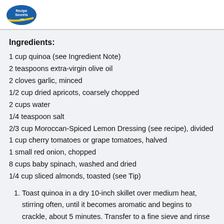RecipeSecrets.net logo
Ingredients:
1 cup quinoa (see Ingredient Note)
2 teaspoons extra-virgin olive oil
2 cloves garlic, minced
1/2 cup dried apricots, coarsely chopped
2 cups water
1/4 teaspoon salt
2/3 cup Moroccan-Spiced Lemon Dressing (see recipe), divided
1 cup cherry tomatoes or grape tomatoes, halved
1 small red onion, chopped
8 cups baby spinach, washed and dried
1/4 cup sliced almonds, toasted (see Tip)
1. Toast quinoa in a dry 10-inch skillet over medium heat, stirring often, until it becomes aromatic and begins to crackle, about 5 minutes. Transfer to a fine sieve and rinse thoroughly.